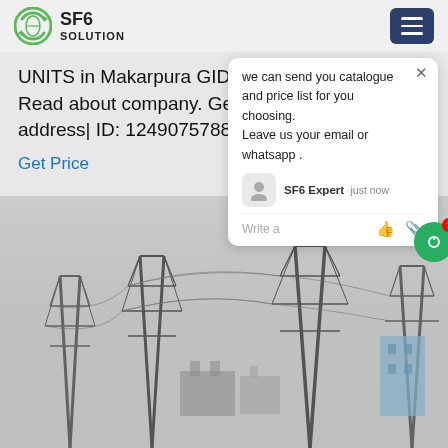SF6 SOLUTION
UNITS in Makarpura GIDC, Vadodara, Gujarat. Read about company. Get contact details and address| ID: 12490757888
Get Price
we can send you catalogue and price list for you choosing.
Leave us your email or whatsapp .
SF6 Expert   just now
Write a
[Figure (photo): Photo of electrical transmission towers and power substation in foggy/hazy conditions]